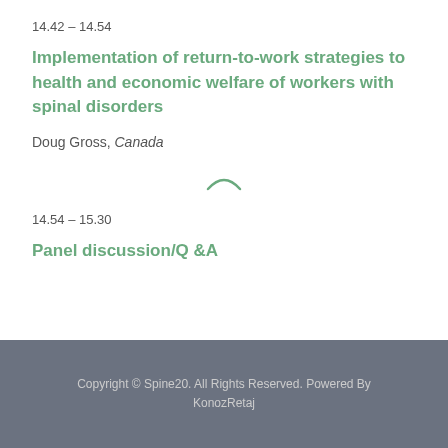14.42 – 14.54
Implementation of return-to-work strategies to health and economic welfare of workers with spinal disorders
Doug Gross, Canada
14.54 – 15.30
Panel discussion/Q &A
Copyright © Spine20. All Rights Reserved. Powered By KonozRetaj